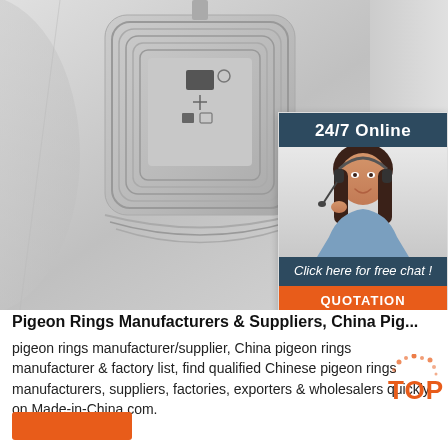[Figure (photo): Product photo of an RFID tag/label with spiral coil antenna on a metallic background, with a 24/7 online customer service chat widget overlay showing a woman with headset]
Pigeon Rings Manufacturers & Suppliers, China Pig...
pigeon rings manufacturer/supplier, China pigeon rings manufacturer & factory list, find qualified Chinese pigeon rings manufacturers, suppliers, factories, exporters & wholesalers quickly on Made-in-China.com.